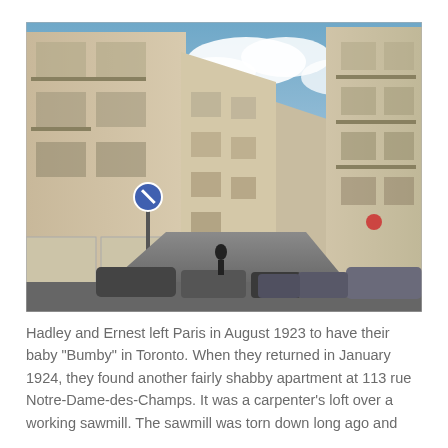[Figure (photo): Street-level photograph of a narrow Parisian street lined with tall cream/beige Haussmann-style apartment buildings on both sides. Cars are parked along the street. A blue circular no-parking sign is visible on the left. The sky is partly cloudy and blue. The street recedes into the distance.]
Hadley and Ernest left Paris in August 1923 to have their baby "Bumby" in Toronto. When they returned in January 1924, they found another fairly shabby apartment at 113 rue Notre-Dame-des-Champs. It was a carpenter's loft over a working sawmill. The sawmill was torn down long ago and